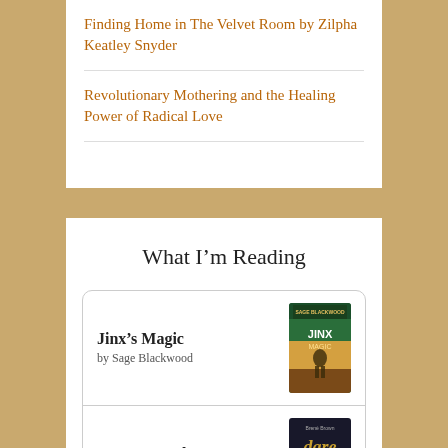Finding Home in The Velvet Room by Zilpha Keatley Snyder
Revolutionary Mothering and the Healing Power of Radical Love
What I'm Reading
Jinx's Magic by Sage Blackwood
Dare to Lead by Brené Brown